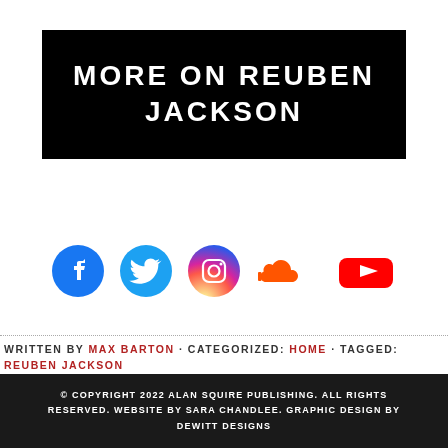MORE ON REUBEN JACKSON
[Figure (infographic): Social media icons: Facebook (blue circle with f), Twitter (blue bird), Instagram (gradient camera), SoundCloud (orange cloud), YouTube (red rectangle with play button)]
WRITTEN BY MAX BARTON · CATEGORIZED: HOME · TAGGED: REUBEN JACKSON
© COPYRIGHT 2022 ALAN SQUIRE PUBLISHING. ALL RIGHTS RESERVED. WEBSITE BY SARA CHANDLEE. GRAPHIC DESIGN BY DEWITT DESIGNS